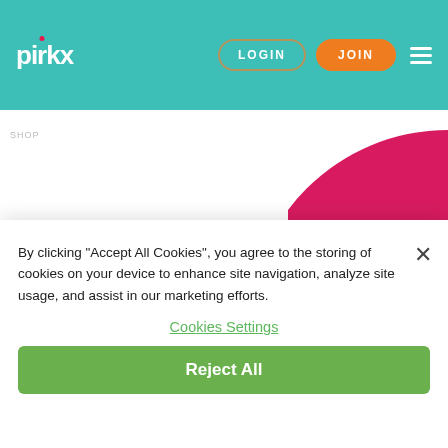pirkx | LOGIN | JOIN
SHOP
CALCULATE
HELP ME
By clicking “Accept All Cookies”, you agree to the storing of cookies on your device to enhance site navigation, analyze site usage, and assist in our marketing efforts.
Cookies Settings
Reject All